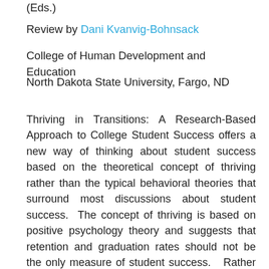(Eds.)
Review by Dani Kvanvig-Bohnsack
College of Human Development and Education
North Dakota State University, Fargo, ND
Thriving in Transitions: A Research-Based Approach to College Student Success offers a new way of thinking about student success based on the theoretical concept of thriving rather than the typical behavioral theories that surround most discussions about student success.  The concept of thriving is based on positive psychology theory and suggests that retention and graduation rates should not be the only measure of student success.   Rather thriving students do more than merely survive college and graduate; thriving students engage in higher level thinking, set goals, establish social connectedness, face academic challenges with a positive attitude and display mature emotional behaviors.  In this way, advisors, faculty and administrators will find that this book provides an excellent review of the various types of transitions college students face including: first-year students, students of color, high-risk students, sophomores